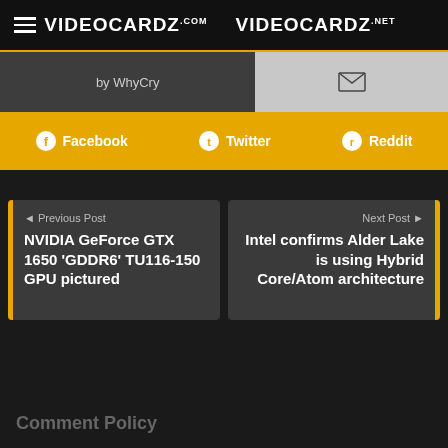VIDEOCARDZ.com   VIDEOCARDZ.net
by WhyCry
Facebook   Twitter   Reddit
◄ Previous Post
NVIDIA GeForce GTX 1650 'GDDR6' TU116-150 GPU pictured
Next Post ►
Intel confirms Alder Lake is using Hybrid Core/Atom architecture
Comment Policy